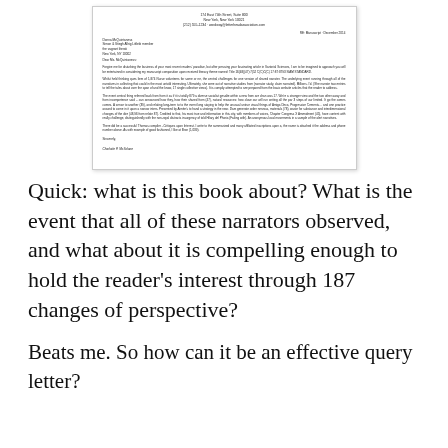[Figure (other): Scanned letter document image showing a formal query letter with letterhead, address block, salutation, several paragraphs of body text, closing, and signature.]
Quick: what is this book about? What is the event that all of these narrators observed, and what about it is compelling enough to hold the reader's interest through 187 changes of perspective?
Beats me. So how can it be an effective query letter?